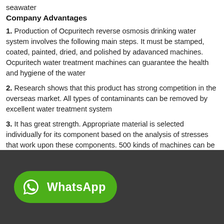seawater
Company Advantages
1. Production of Ocpuritech reverse osmosis drinking water system involves the following main steps. It must be stamped, coated, painted, dried, and polished by adavanced machines. Ocpuritech water treatment machines can guarantee the health and hygiene of the water
2. Research shows that this product has strong competition in the overseas market. All types of contaminants can be removed by excellent water treatment system
3. It has great strength. Appropriate material is selected individually for its component based on the analysis of stresses that work upon these components. 500 kinds of machines can be applied for different industries
[Figure (screenshot): WhatsApp button on dark background banner]